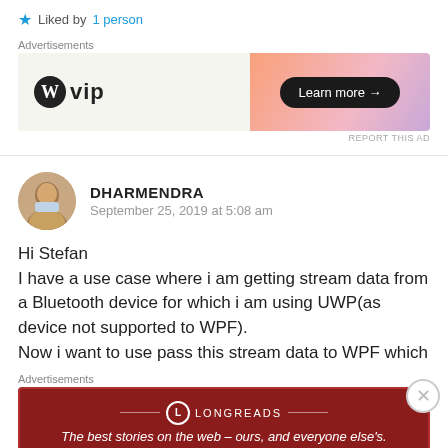★ Liked by 1 person
[Figure (other): WordPress VIP advertisement banner with 'Learn more →' button]
REPORT THIS AD
DHARMENDRA
September 25, 2019 at 5:08 am
Hi Stefan
I have a use case where i am getting stream data from a Bluetooth device for which i am using UWP(as device not supported to WPF).
Now i want to use pass this stream data to WPF which
[Figure (other): Longreads advertisement banner: 'The best stories on the web – ours, and everyone else's.']
REPORT THIS AD